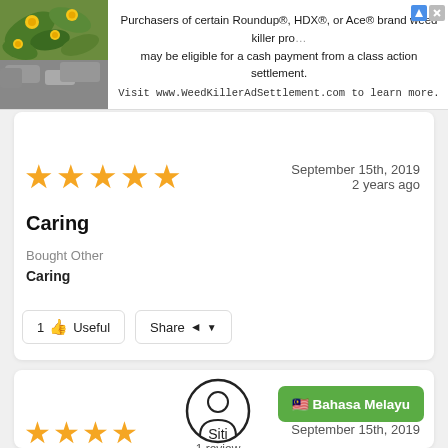[Figure (infographic): Advertisement banner for WeedKillerAdSettlement.com with a plant image on the left and text about Roundup, HDX, or Ace brand weed killer class action settlement on the right]
1 review
[Figure (infographic): Five yellow star rating]
September 15th, 2019
2 years ago
Caring
Bought Other
Caring
1 👍 Useful   Share ◄ ▼
[Figure (illustration): User avatar icon for Siti - circular profile silhouette]
Siti
1 review
🇲🇾 Bahasa Melayu
[Figure (infographic): Four yellow star rating (partial)]
September 15th, 2019